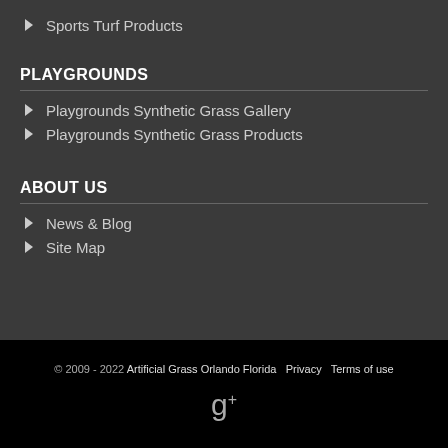Sports Turf Products
PLAYGROUNDS
Playgrounds Synthetic Grass Gallery
Playgrounds Synthetic Grass Products
ABOUT US
News & Blog
Site Map
© 2009 - 2022 Artificial Grass Orlando Florida   Privacy   Terms of use
[Figure (logo): Google+ icon]